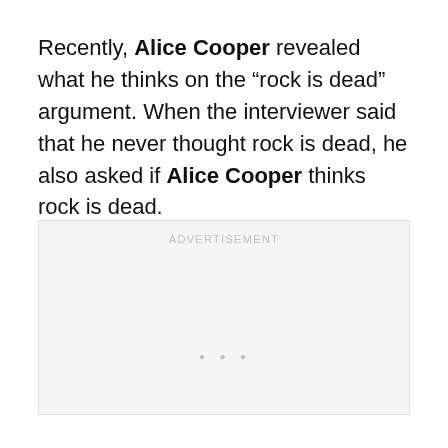Recently, Alice Cooper revealed what he thinks on the “rock is dead” argument. When the interviewer said that he never thought rock is dead, he also asked if Alice Cooper thinks rock is dead.
[Figure (other): Advertisement placeholder box with 'ADVERTISEMENT' label and three dots centered inside a light gray rectangle]